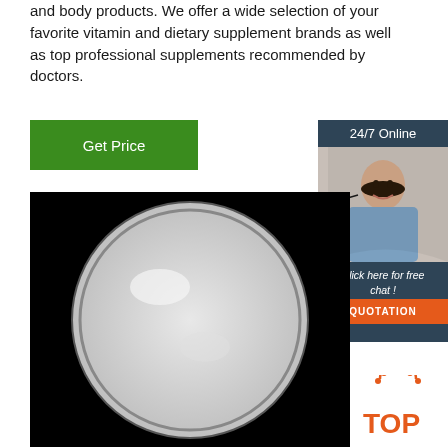and body products. We offer a wide selection of your favorite vitamin and dietary supplement brands as well as top professional supplements recommended by doctors.
[Figure (other): Green 'Get Price' button]
[Figure (other): 24/7 Online customer service sidebar with agent photo, 'Click here for free chat!' text, and QUOTATION button]
[Figure (photo): White powder in a circular petri dish on black background]
[Figure (logo): TOP logo in orange at bottom right]